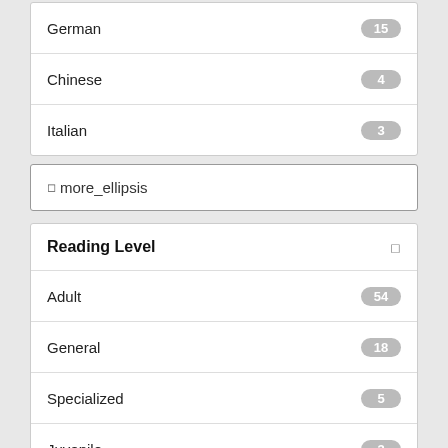German 15
Chinese 4
Italian 3
more_ellipsis
Reading Level
Adult 54
General 18
Specialized 5
Juvenile 3
Adolescent 1